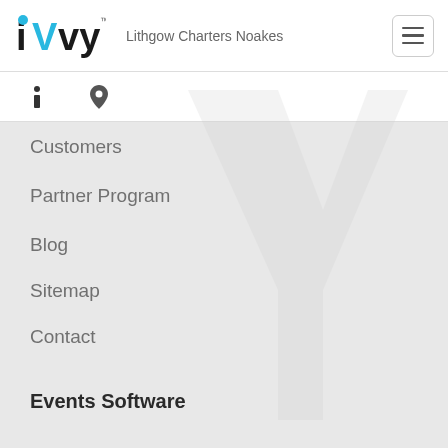iVvy — Lithgow Charters Noakes
Customers
Partner Program
Blog
Sitemap
Contact
Events Software
Home
Highlights
Event Registrations
Event Management